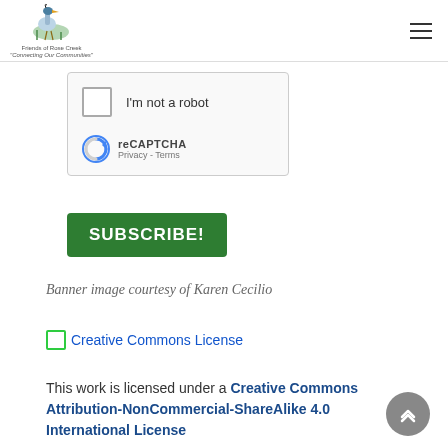Friends of Rose Creek – Connecting Our Communities
[Figure (screenshot): reCAPTCHA widget with checkbox labeled 'I'm not a robot' and reCAPTCHA logo with Privacy and Terms links]
[Figure (other): Green SUBSCRIBE! button]
Banner image courtesy of Karen Cecilio
[Figure (other): Creative Commons License badge icon]
This work is licensed under a Creative Commons Attribution-NonCommercial-ShareAlike 4.0 International License